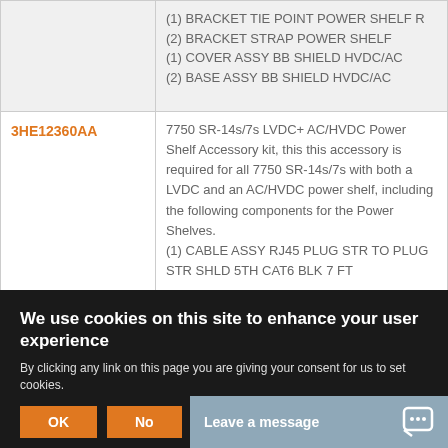| Part Number | Description |
| --- | --- |
|  | (1) BRACKET TIE POINT POWER SHELF R
(2) BRACKET STRAP POWER SHELF
(1) COVER ASSY BB SHIELD HVDC/AC
(2) BASE ASSY BB SHIELD HVDC/AC |
| 3HE12360AA | 7750 SR-14s/7s LVDC+ AC/HVDC Power Shelf Accessory kit, this this accessory is required for all 7750 SR-14s/7s with both a LVDC and an AC/HVDC power shelf, including the following components for the Power Shelves.
(1) CABLE ASSY RJ45 PLUG STR TO PLUG STR SHLD 5TH CAT6 BLK 7 FT |
We use cookies on this site to enhance your user experience
By clicking any link on this page you are giving your consent for us to set cookies.
Leave a message